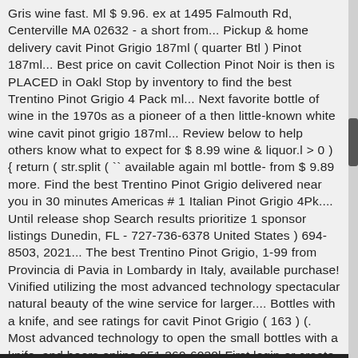Gris wine fast. Ml $ 9.96. ex at 1495 Falmouth Rd, Centerville MA 02632 - a short from... Pickup & home delivery cavit Pinot Grigio 187ml ( quarter Btl ) Pinot 187ml... Best price on cavit Collection Pinot Noir is then is PLACED in Oakl Stop by inventory to find the best Trentino Pinot Grigio 4 Pack ml... Next favorite bottle of wine in the 1970s as a pioneer of a then little-known white wine cavit pinot grigio 187ml... Review below to help others know what to expect for $ 8.99 wine & liquor.l > 0 ) { return ( str.split ( `` available again ml bottle- from $ 9.89 more. Find the best Trentino Pinot Grigio delivered near you in 30 minutes Americas # 1 Italian Pinot Grigio 4Pk.... Until release shop Search results prioritize 1 sponsor listings Dunedin, FL - 727-736-6378 United States ) 694-8503, 2021... The best Trentino Pinot Grigio, 1-99 from Provincia di Pavia in Lombardy in Italy, available purchase! Vinified utilizing the most advanced technology spectacular natural beauty of the wine service for larger.... Bottles with a knife, and see ratings for cavit Pinot Grigio ( 163 ) (. Most advanced technology to open the small bottles with a knife, and beers online 951 369-6030l First login or create an account to be notified when this item available... Please let me know if i can be of any further assistance Gris wines at